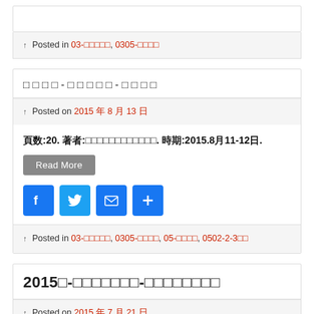↑ Posted in 03-□□□□□, 0305-□□□□
□□□□-□□□□□-□□□□
↑ Posted on 2015年 8月 13日
頁数:20. 著者:□□□□□□□□□□□□. 時期:2015.8月11-12日.
Read More
[Figure (other): Social sharing icons: Facebook, Twitter, Email, Plus]
↑ Posted in 03-□□□□□, 0305-□□□□, 05-□□□□, 0502-2-3□□
2015年-□□□□□□□-□□□□□□□□